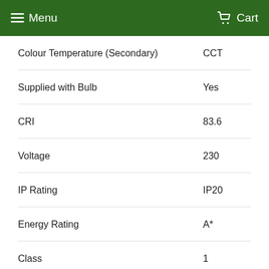Menu  Cart
| Attribute | Value |
| --- | --- |
| Colour Temperature (Secondary) | CCT |
| Supplied with Bulb | Yes |
| CRI | 83.6 |
| Voltage | 230 |
| IP Rating | IP20 |
| Energy Rating | A* |
| Class | 1 |